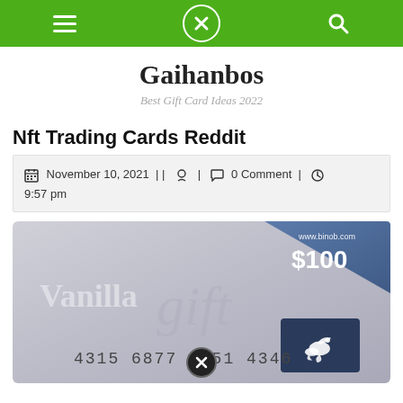Navigation bar with menu, close, and search icons
Gaihanbos
Best Gift Card Ideas 2022
Nft Trading Cards Reddit
November 10, 2021 | | 0 Comment | 9:57 pm
[Figure (photo): Vanilla gift card showing card number 4315 6877 5151 4346, $100 value, with dove logo. Watermark www.binob.com in top right corner.]